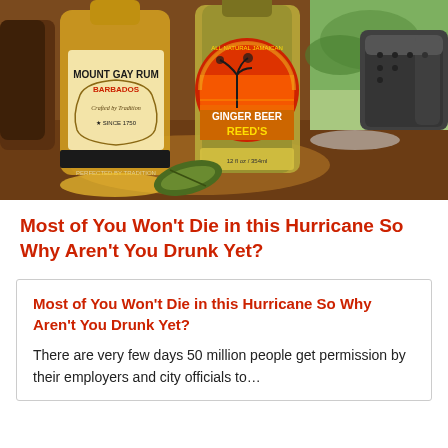[Figure (photo): Photo of a bottle of Mount Gay Rum from Barbados and a bottle of Reed's All Natural Jamaican Ginger Beer on a wooden table, with a lime wedge and a cup in the background]
Most of You Won't Die in this Hurricane So Why Aren't You Drunk Yet?
Most of You Won't Die in this Hurricane So Why Aren't You Drunk Yet?
There are very few days 50 million people get permission by their employers and city officials to…